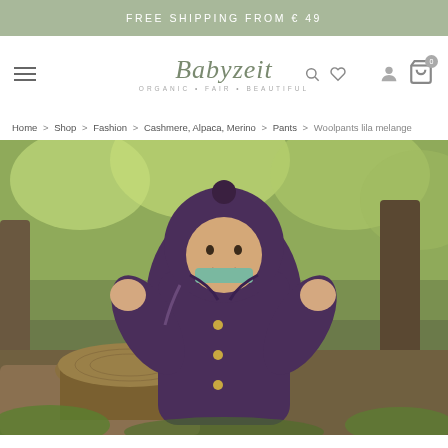FREE SHIPPING FROM € 49
[Figure (logo): Babyzeit logo with tagline ORGANIC FAIR BEAUTIFUL and navigation icons including hamburger menu, search, heart/wishlist, user account, and shopping cart with badge 0]
Home > Shop > Fashion > Cashmere, Alpaca, Merino > Pants > Woolpants lila melange
[Figure (photo): Baby/toddler wearing a purple wool fleece jacket with hood and pom-pom, standing outdoors in a forest setting near a tree stump, with green foliage background]